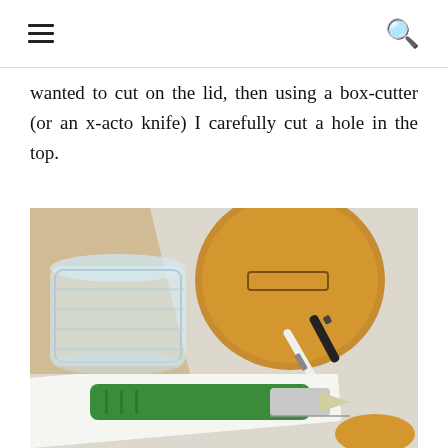≡ 🔍
wanted to cut on the lid, then using a box-cutter (or an x-acto knife) I carefully cut a hole in the top.
[Figure (photo): Overhead view of a clear plastic jar without its lid, an orange/tan circular plastic lid with a rectangular cut slot on a beige countertop surface, along with a white pen/stylus and a black marker.]
[Figure (photo): Partial view of a green box-cutter/utility knife on a white surface, partially cropped at bottom of page.]